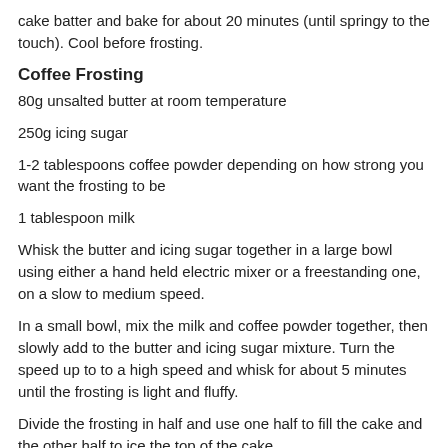cake batter and bake for about 20 minutes (until springy to the touch). Cool before frosting.
Coffee Frosting
80g unsalted butter at room temperature
250g icing sugar
1-2 tablespoons coffee powder depending on how strong you want the frosting to be
1 tablespoon milk
Whisk the butter and icing sugar together in a large bowl using either a hand held electric mixer or a freestanding one, on a slow to medium speed.
In a small bowl, mix the milk and coffee powder together, then slowly add to the butter and icing sugar mixture. Turn the speed up to to a high speed and whisk for about 5 minutes until the frosting is light and fluffy.
Divide the frosting in half and use one half to fill the cake and the other half to ice the top of the cake.